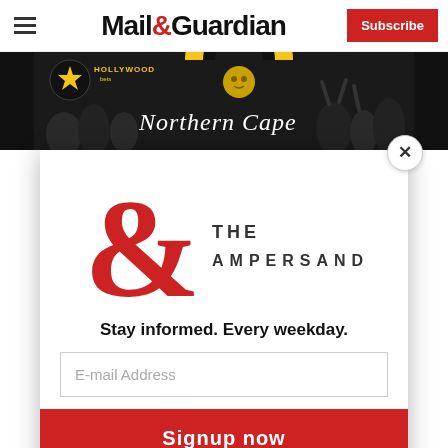Mail&Guardian — Subscribe
[Figure (illustration): Hollywood Bets Northern Cape concert/event banner with crowd silhouette, star logo, and arch graphic]
[Figure (logo): The Ampersand newsletter logo — large red ampersand with THE AMPERSAND text]
Stay informed. Every weekday.
E-mail Address
Signup now